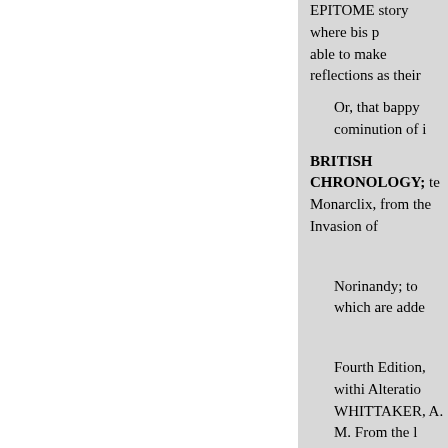EPITOME story where bis p able to make reflections as their
Or, that bappy cominution of i
BRITISH CHRONOLOGY; te Monarclix, from the Invasion of
Norinandy; to which are adde
Fourth Edition, withi Alteratio WHITTAKER, A. M. From the l
Time;
“ Notwithstanding the variety subject, none will be found bette the chronolozical liistory of our c coavey in a more concise manne of irs political history. It is an ex